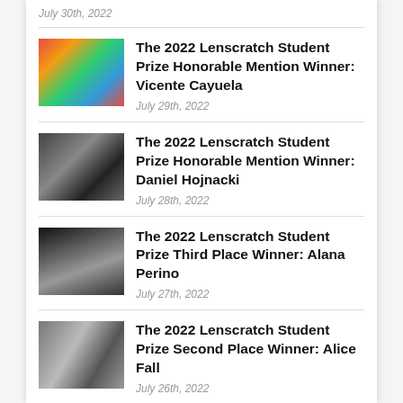July 30th, 2022
The 2022 Lenscratch Student Prize Honorable Mention Winner: Vicente Cayuela | July 29th, 2022
The 2022 Lenscratch Student Prize Honorable Mention Winner: Daniel Hojnacki | July 28th, 2022
The 2022 Lenscratch Student Prize Third Place Winner: Alana Perino | July 27th, 2022
The 2022 Lenscratch Student Prize Second Place Winner: Alice Fall | July 26th, 2022
The 2022 Lenscratch Student